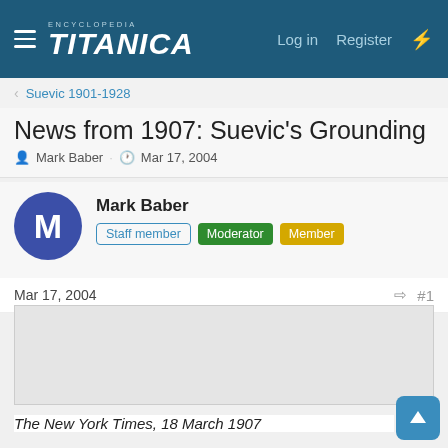Encyclopedia Titanica — Log in   Register
Suevic 1901-1928
News from 1907: Suevic's Grounding
Mark Baber · Mar 17, 2004
Mark Baber
Staff member   Moderator   Member
Mar 17, 2004   #1
[Figure (photo): Embedded image placeholder (newspaper clipping or photo)]
The New York Times, 18 March 1907